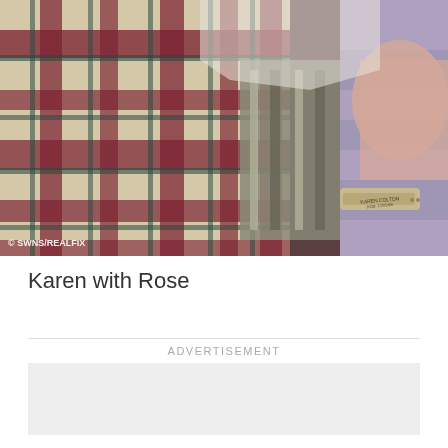[Figure (photo): Close-up photo of a person wearing a hospital identification wristband, holding what appears to be a newborn baby wrapped in plaid and striped clothing. The wristband is tan/beige colored. Watermark reads '© SWNS/REALFIX' in bottom left.]
Karen with Rose
ADVERTISEMENT